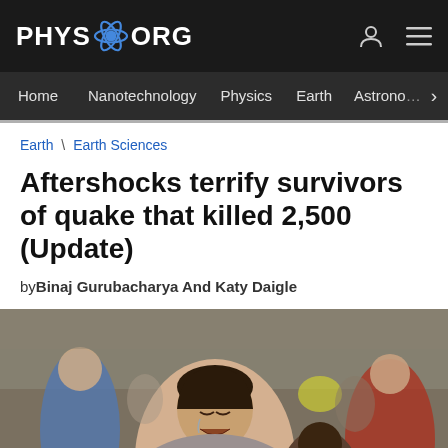PHYS.ORG
Home | Nanotechnology | Physics | Earth | Astronomy >
Earth \ Earth Sciences
Aftershocks terrify survivors of quake that killed 2,500 (Update)
byBinaj Gurubacharya And Katy Daigle
[Figure (photo): A woman crying in distress in a crowd of people, likely earthquake survivors in Nepal]